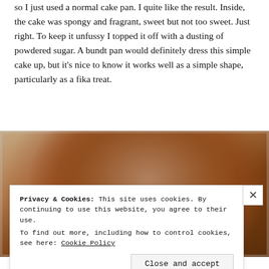so I just used a normal cake pan. I quite like the result. Inside, the cake was spongy and fragrant, sweet but not too sweet. Just right. To keep it unfussy I topped it off with a dusting of powdered sugar. A bundt pan would definitely dress this simple cake up, but it's nice to know it works well as a simple shape, particularly as a fika treat.
[Figure (photo): Top-down photo of a round cake dusted with powdered sugar, sitting on a plate with a light background.]
Privacy & Cookies: This site uses cookies. By continuing to use this website, you agree to their use.
To find out more, including how to control cookies, see here: Cookie Policy
Close and accept